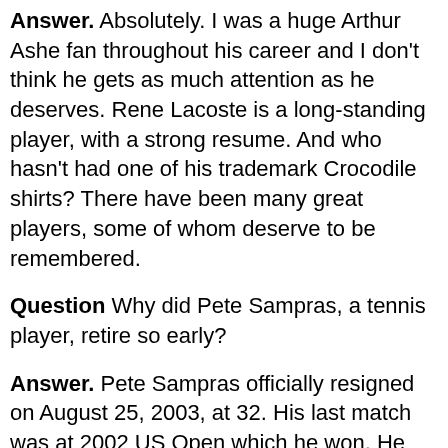Answer. Absolutely. I was a huge Arthur Ashe fan throughout his career and I don't think he gets as much attention as he deserves. Rene Lacoste is a long-standing player, with a strong resume. And who hasn't had one of his trademark Crocodile shirts? There have been many great players, some of whom deserve to be remembered.
Question Why did Pete Sampras, a tennis player, retire so early?
Answer. Pete Sampras officially resigned on August 25, 2003, at 32. His last match was at 2002 US Open which he won. He was able to play well into his thirties, but he felt he had reached a plateau and decided to end his career. He ended his career with a Grand Slam title,